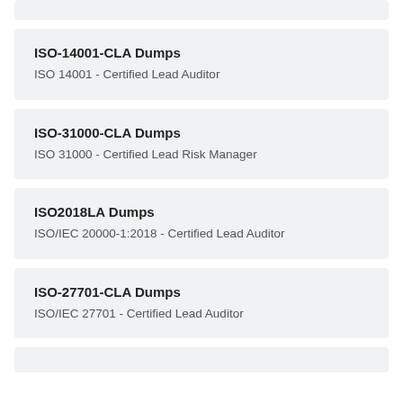ISO-14001-CLA Dumps
ISO 14001 - Certified Lead Auditor
ISO-31000-CLA Dumps
ISO 31000 - Certified Lead Risk Manager
ISO2018LA Dumps
ISO/IEC 20000-1:2018 - Certified Lead Auditor
ISO-27701-CLA Dumps
ISO/IEC 27701 - Certified Lead Auditor